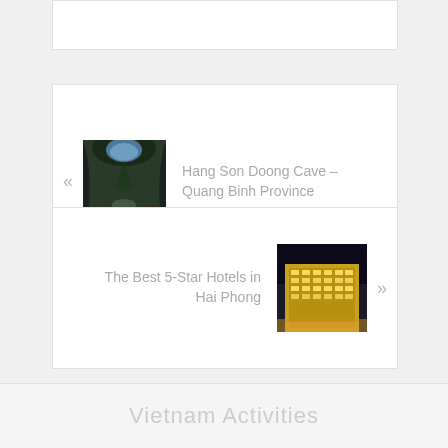[Figure (photo): Card with left arrow, thumbnail of Hang Son Doong cave (dark cave interior with blue light), and text link]
Hang Son Doong Cave – Quang Binh Province
[Figure (photo): Card with thumbnail of illuminated luxury hotel building at night and text link with right arrow]
The Best 5-Star Hotels in Hai Phong
Vietnam Activities